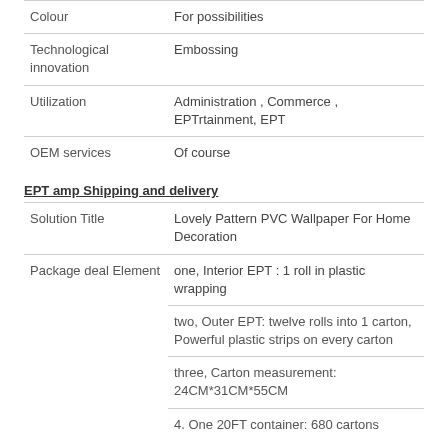| Colour | For possibilities |
| Technological innovation | Embossing |
| Utilization | Administration , Commerce , EPTrtainment, EPT |
| OEM services | Of course |
EPT amp Shipping and delivery
| Solution Title | Lovely Pattern PVC Wallpaper For Home Decoration |
| Package deal Element | one, Interior EPT : 1 roll in plastic wrapping |
|  | two, Outer EPT: twelve rolls into 1 carton, Powerful plastic strips on every carton |
|  | three, Carton measurement: 24CM*31CM*55CM |
|  | 4. One 20FT container: 680 cartons |